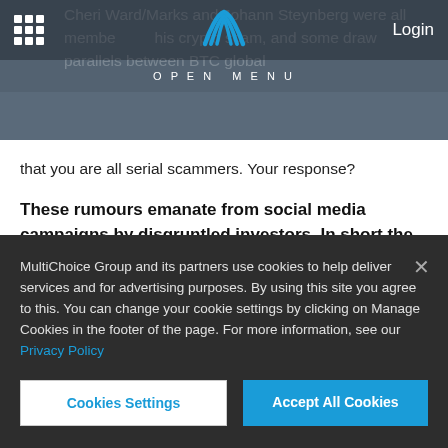Login
Cheri Ward/Marks and Johann Steynberg were all members of this crypto scam, and some draw parallels between BTC global
OPEN MENU
that you are all serial scammers. Your response?
These rumours emanate from social media campaigns by disgruntled investors. In short the social media posts should be seen by a reasonable viewer for what they are - baseless
MultiChoice Group and its partners use cookies to help deliver services and for advertising purposes. By using this site you agree to this. You can change your cookie settings by clicking on Manage Cookies in the footer of the page. For more information, see our Privacy Policy
Cookies Settings
Accept All Cookies